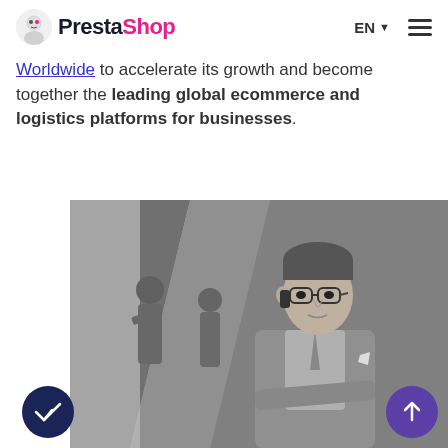PrestaShop — EN — menu
Worldwide to accelerate its growth and become together the leading global ecommerce and logistics platforms for businesses.
[Figure (photo): Black and white photo of a man in a suit and glasses talking on a phone, with two people in the blurred background in an office or modern interior setting.]